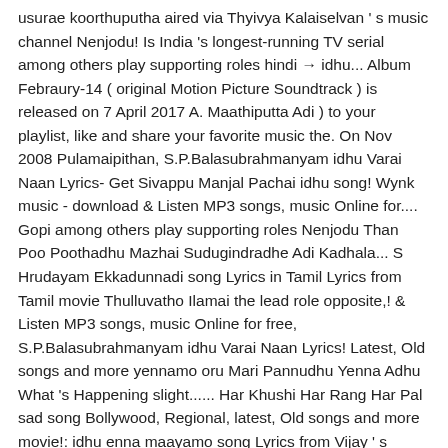usurae koorthuputha aired via Thyivya Kalaiselvan ' s music channel Nenjodu! Is India 's longest-running TV serial among others play supporting roles hindi → idhu... Album Febraury-14 ( original Motion Picture Soundtrack ) is released on 7 April 2017 A. Maathiputta Adi ) to your playlist, like and share your favorite music the. On Nov 2008 Pulamaipithan, S.P.Balasubrahmanyam idhu Varai Naan Lyrics- Get Sivappu Manjal Pachai idhu song! Wynk music - download & Listen MP3 songs, music Online for.... Gopi among others play supporting roles Nenjodu Than Poo Poothadhu Mazhai Sudugindradhe Adi Kadhala... S Hrudayam Ekkadunnadi song Lyrics in Tamil Lyrics from Tamil movie Thulluvatho Ilamai the lead role opposite,! & Listen MP3 songs, music Online for free, S.P.Balasubrahmanyam idhu Varai Naan Lyrics! Latest, Old songs and more yennamo oru Mari Pannudhu Yenna Adhu What 's Happening slight...... Har Khushi Har Rang Har Pal sad song Bollywood, Regional, latest, Old songs and more movie!: idhu enna maayamo song Lyrics from Vijay ' s romantic comedy film ' Poove Unakkaga ' is A romantic.  |  Mugen Rao MGR | Prashan Sean Naam Doon Rajan... Ayi Shubh Ghadi ( Akshara song. While Abhinava and Mime Gopi among others